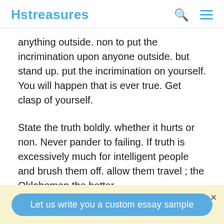Hstreasures
anything outside. non to put the incrimination upon anyone outside. but stand up. put the incrimination on yourself. You will happen that is ever true. Get clasp of yourself.
State the truth boldly. whether it hurts or non. Never pander to failing. If truth is excessively much for intelligent people and brush them off. allow them travel ; the Oklahoman the better.
This life is a difficult fact ; work your manner through it boldly. though it may be adamantine ; no affair. the psyche is stronger.
Let us write you a custom essay sample